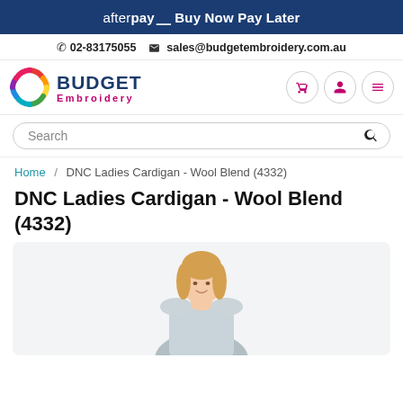afterpay Buy Now Pay Later
02-83175055   sales@budgetembroidery.com.au
[Figure (logo): Budget Embroidery logo with colorful circle emblem and text 'BUDGET Embroidery']
Search
Home / DNC Ladies Cardigan - Wool Blend (4332)
DNC Ladies Cardigan - Wool Blend (4332)
[Figure (photo): Blonde woman wearing a cardigan, partially visible, product photo on light grey background]